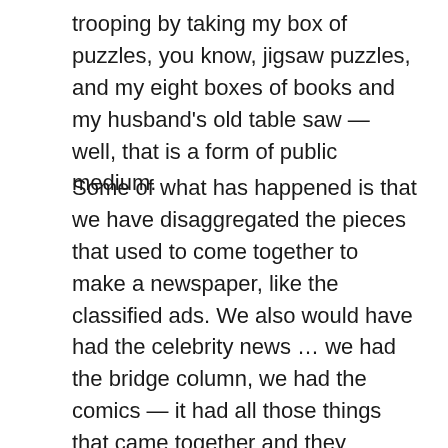trooping by taking my box of puzzles, you know, jigsaw puzzles, and my eight boxes of books and my husband's old table saw — well, that is a form of public medium.
Some of what has happened is that we have disaggregated the pieces that used to come together to make a newspaper, like the classified ads. We also would have had the celebrity news … we had the bridge column, we had the comics — it had all those things that came together and they helped support substantial news … the kind of thing that keeps a democracy going. Well now we've kind of disaggregated a lot of that, and reaggregating it